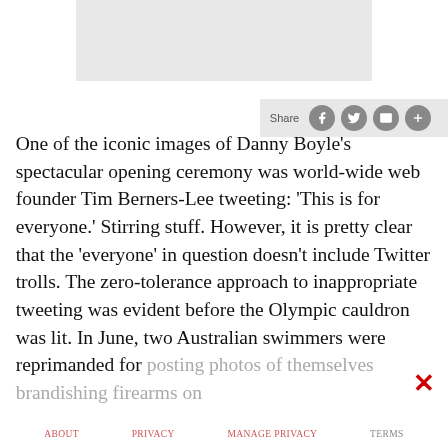[Figure (photo): Light gray placeholder image block at top center of page]
Share [social share icons: Facebook, Twitter, Email, More]
One of the iconic images of Danny Boyle's spectacular opening ceremony was world-wide web founder Tim Berners-Lee tweeting: 'This is for everyone.' Stirring stuff. However, it is pretty clear that the 'everyone' in question doesn't include Twitter trolls. The zero-tolerance approach to inappropriate tweeting was evident before the Olympic cauldron was lit. In June, two Australian swimmers were reprimanded for posting photos of themselves brandishing firearms on
ABOUT   PRIVACY   MANAGE PRIVACY   TERMS